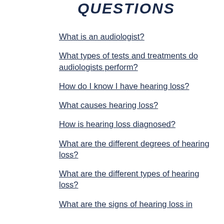QUESTIONS
What is an audiologist?
What types of tests and treatments do audiologists perform?
How do I know I have hearing loss?
What causes hearing loss?
How is hearing loss diagnosed?
What are the different degrees of hearing loss?
What are the different types of hearing loss?
What are the signs of hearing loss in